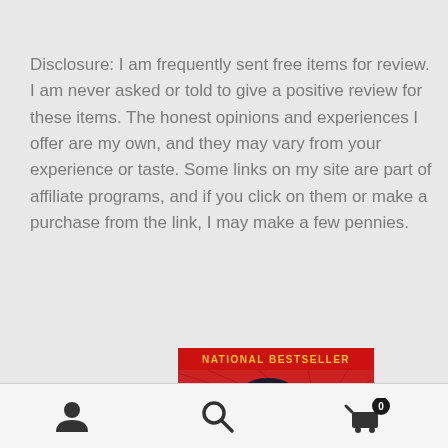Disclosure: I am frequently sent free items for review. I am never asked or told to give a positive review for these items. The honest opinions and experiences I offer are my own, and they may vary from your experience or taste. Some links on my site are part of affiliate programs, and if you click on them or make a purchase from the link, I may make a few pennies.
[Figure (illustration): Book cover with red background showing a comic-style illustration of a woman with dark hair and glasses, wearing a blue top, with the text 'NATIONAL BESTSELLER' at the top in yellow letters on a red banner.]
Navigation bar with user icon, search icon, and cart icon with badge showing 0